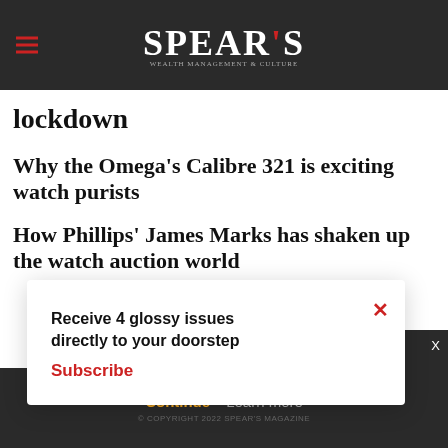SPEAR'S
lockdown
Why the Omega’s Calibre 321 is exciting watch purists
How Phillips’ James Marks has shaken up the watch auction world
Receive 4 glossy issues directly to your doorstep
Subscribe
s.
continue using our
all cookies on this
Continue   Learn more